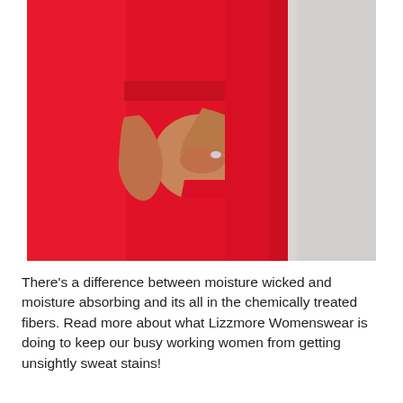[Figure (photo): Close-up photo of a woman wearing a bright red fitted dress with 3/4 sleeves, shown from the waist/torso area. Her hands are clasped together in front of her. The background is light grey/white.]
There's a difference between moisture wicked and moisture absorbing and its all in the chemically treated fibers. Read more about what Lizzmore Womenswear is doing to keep our busy working women from getting unsightly sweat stains!